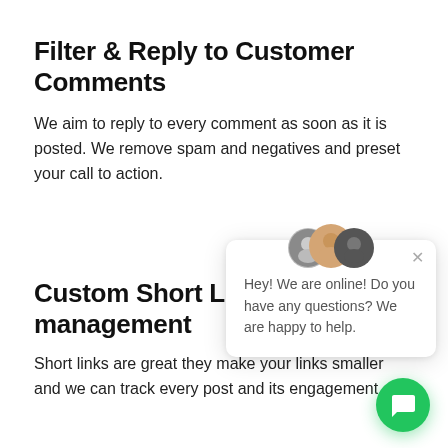Filter & Reply to Customer Comments
We aim to reply to every comment as soon as it is posted. We remove spam and negatives and preset your call to action.
Custom Short Link management
Short links are great they make your links smaller and we can track every post and its engagement.
[Figure (screenshot): Live chat popup widget showing three user avatars at top, a close (X) button, and the message: 'Hey! We are online! Do you have any questions? We are happy to help.']
[Figure (illustration): Green circular chat button with speech bubble icon in bottom-right corner.]